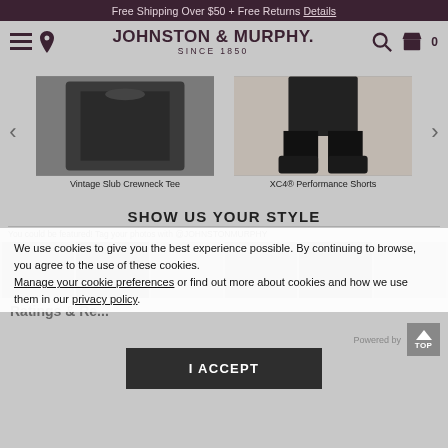Free Shipping Over $50 + Free Returns Details
[Figure (screenshot): Johnston & Murphy website navigation bar with hamburger menu, location pin, brand logo 'JOHNSTON & MURPHY SINCE 1850', search icon, and cart icon with 0 items]
[Figure (photo): Product carousel showing two products: Vintage Slub Crewneck Tee (dark folded shirt photo) and XC4 Performance Shorts (man wearing black shorts and shoes photo), with left and right navigation arrows]
Vintage Slub Crewneck Tee
XC4® Performance Shorts
SHOW US YOUR STYLE
You could be featured! Tag your photos with @JOHNSTONMURPHY
[Figure (photo): Social photo strip with multiple user-submitted lifestyle photos, partially obscured by cookie consent banner]
We use cookies to give you the best experience possible. By continuing to browse, you agree to the use of these cookies. Manage your cookie preferences or find out more about cookies and how we use them in our privacy policy.
I ACCEPT
Ratings & Re...
Powered by
[Figure (other): TOP button - scroll to top button]